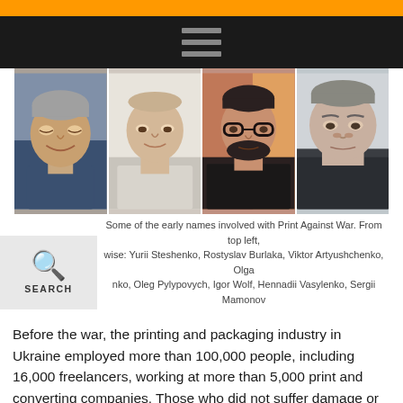[Figure (photo): Four portrait photos of people involved with Print Against War: from top left clockwise: Yurii Steshenko, Rostyslav Burlaka, Viktor Artyushchenko, Olga Pylypovych, Oleg Pylypovych, Igor Wolf, Hennadii Vasylenko, Sergii Mamonov]
Some of the early names involved with Print Against War. From top left, clockwise: Yurii Steshenko, Rostyslav Burlaka, Viktor Artyushchenko, Olga Pylypovych, Oleg Pylypovych, Igor Wolf, Hennadii Vasylenko, Sergii Mamonov
Before the war, the printing and packaging industry in Ukraine employed more than 100,000 people, including 16,000 freelancers, working at more than 5,000 print and converting companies. Those who did not suffer damage or destruction can still work, but they lost most of their orders and turnover. Since February 24th, the lives of all these people have been disrupted. Many of them receive minimum wage or not even that. Print Against War is taking care of them, involving them